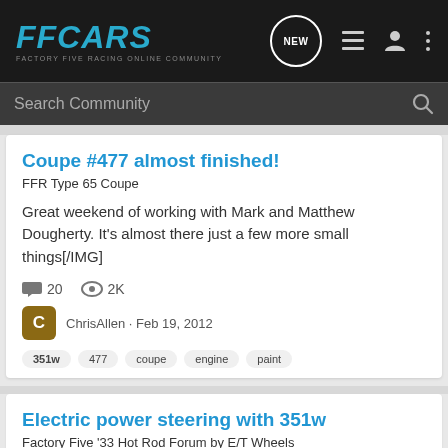FFCARS FACTORY FIVE RACING ONLINE COMMUNITY
Search Community
Coupe #477 almost finished!
FFR Type 65 Coupe
Great weekend of working with Mark and Matthew Dougherty. It's almost there just a few more small things[/IMG]
20 comments, 2K views
ChrisAllen · Feb 19, 2012
351w
477
coupe
engine
paint
Electric power steering with 351w
Factory Five '33 Hot Rod Forum by E/T Wheels